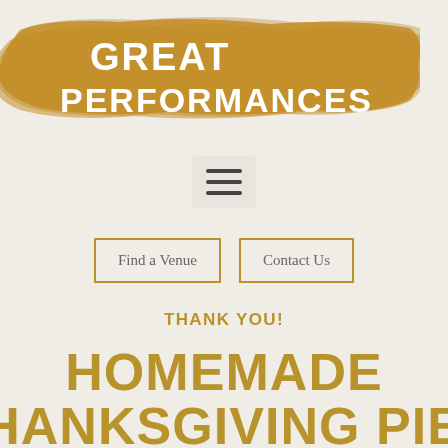[Figure (logo): Great Performances logo — bold white serif text 'GREAT PERFORMANCES' over a gold brushstroke watercolor background]
[Figure (other): Hamburger menu icon — three horizontal dark lines inside a light rounded rectangle]
Find a Venue
Contact Us
THANK YOU!
HOMEMADE THANKSGIVING PIES